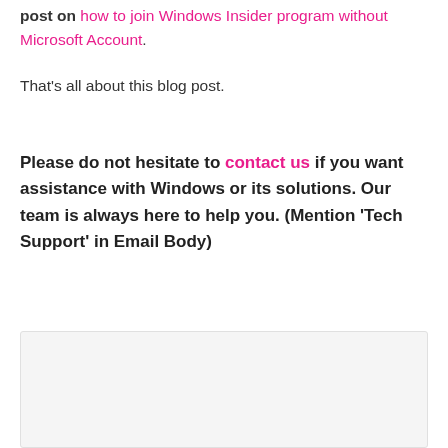post on how to join Windows Insider program without Microsoft Account.
That's all about this blog post.
Please do not hesitate to contact us if you want assistance with Windows or its solutions. Our team is always here to help you. (Mention 'Tech Support' in Email Body)
[Figure (other): Light gray box area at the bottom of the page]